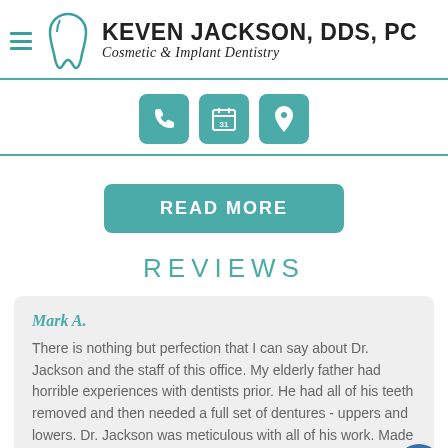KEVEN JACKSON, DDS, PC Cosmetic & Implant Dentistry
[Figure (infographic): Three teal icon buttons: phone, calendar (31), and location pin]
READ MORE
REVIEWS
Mark A.
There is nothing but perfection that I can say about Dr. Jackson and the staff of this office. My elderly father had horrible experiences with dentists prior. He had all of his teeth removed and then needed a full set of dentures - uppers and lowers. Dr. Jackson was meticulous with all of his work. Made sure that my father was always comfortable